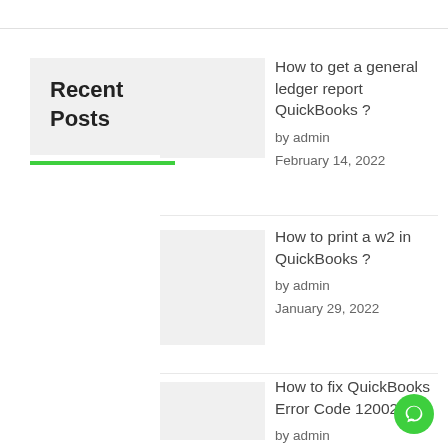Recent Posts
How to get a general ledger report QuickBooks ?
by admin
February 14, 2022
How to print a w2 in QuickBooks ?
by admin
January 29, 2022
How to fix QuickBooks Error Code 12002?
by admin
October 21, 2021